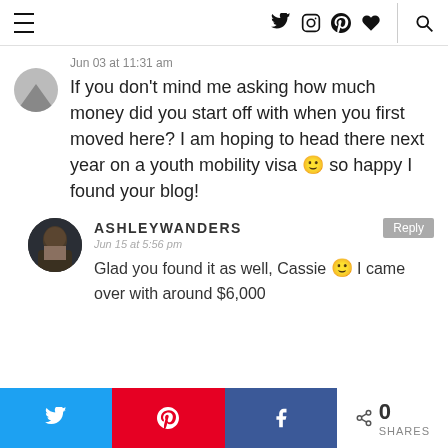Navigation header with menu icon, social icons (Twitter, Instagram, Pinterest, Heart), divider, and search icon
Jun 03 at 11:31 am
If you don't mind me asking how much money did you start off with when you first moved here? I am hoping to head there next year on a youth mobility visa 🙂 so happy I found your blog!
ASHLEYWANDERS
Jun 15 at 5:56 pm
Glad you found it as well, Cassie 🙂 I came over with around $6,000
Twitter share button, Pinterest share button, Facebook share button, 0 SHARES